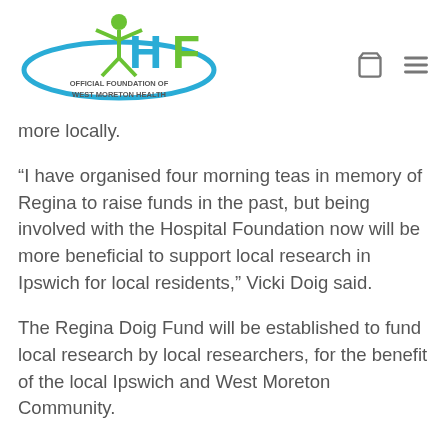[Figure (logo): HF - Official Foundation of West Moreton Health logo with teal/green figure, blue ellipse, and colorful HF letters]
more locally.
“I have organised four morning teas in memory of Regina to raise funds in the past, but being involved with the Hospital Foundation now will be more beneficial to support local research in Ipswich for local residents,” Vicki Doig said.
The Regina Doig Fund will be established to fund local research by local researchers, for the benefit of the local Ipswich and West Moreton Community.